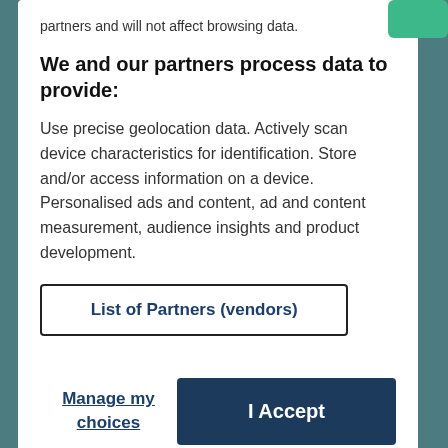partners and will not affect browsing data.
We and our partners process data to provide:
Use precise geolocation data. Actively scan device characteristics for identification. Store and/or access information on a device. Personalised ads and content, ad and content measurement, audience insights and product development.
List of Partners (vendors)
Manage my choices
I Accept